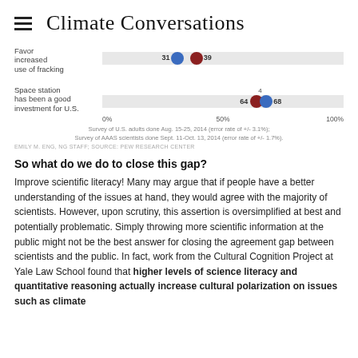Climate Conversations
[Figure (scatter-plot): Dot plot showing public (blue) vs scientists (red) agreement percentages on 'Favor increased use of fracking' and 'Space station has been a good investment for U.S.' rows with a gap of 4 labeled for the space station row.]
Survey of U.S. adults done Aug. 15-25, 2014 (error rate of +/- 3.1%)
Survey of AAAS scientists done Sept. 11-Oct. 13, 2014 (error rate of +/- 1.7%).
EMILY M. ENG, NG STAFF; SOURCE: PEW RESEARCH CENTER
So what do we do to close this gap?
Improve scientific literacy! Many may argue that if people have a better understanding of the issues at hand, they would agree with the majority of scientists. However, upon scrutiny, this assertion is oversimplified at best and potentially problematic. Simply throwing more scientific information at the public might not be the best answer for closing the agreement gap between scientists and the public. In fact, work from the Cultural Cognition Project at Yale Law School found that higher levels of science literacy and quantitative reasoning actually increase cultural polarization on issues such as climate